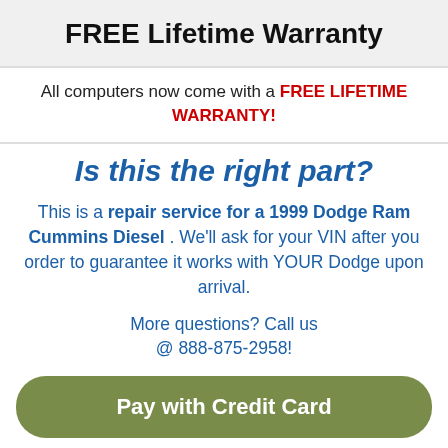FREE Lifetime Warranty
All computers now come with a FREE LIFETIME WARRANTY!
Is this the right part?
This is a repair service for a 1999 Dodge Ram Cummins Diesel . We'll ask for your VIN after you order to guarantee it works with YOUR Dodge upon arrival.
More questions? Call us @ 888-875-2958!
Pay with Credit Card